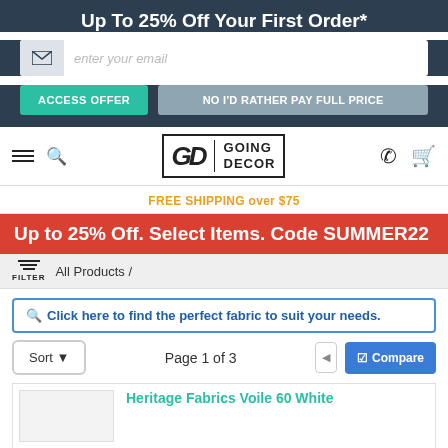Up To 25% Off Your First Order*
enter your email
ACCESS OFFER
NO I'D RATHER PAY FULL PRICE
[Figure (logo): Going Decor logo with GD initials in a bordered box]
FREE SHIPPING over $75
Up to 25% Off. Select Items. Code SUMMER22
FILTER  All Products /
Q Click here to find the perfect fabric to suit your needs.
Sort ▾   Page 1 of 3   ☑Compare
Heritage Fabrics Voile 60 White